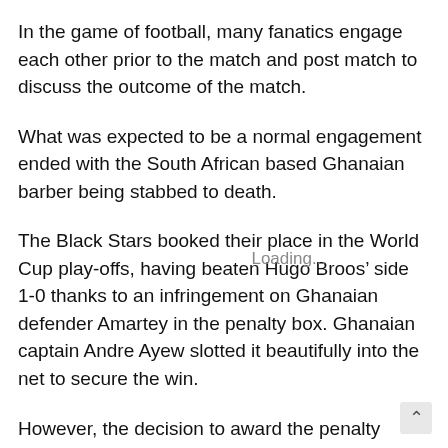In the game of football, many fanatics engage each other prior to the match and post match to discuss the outcome of the match.
What was expected to be a normal engagement ended with the South African based Ghanaian barber being stabbed to death.
The Black Stars booked their place in the World Cup play-offs, having beaten Hugo Broos’ side 1-0 thanks to an infringement on Ghanaian defender Amartey in the penalty box. Ghanaian captain Andre Ayew slotted it beautifully into the net to secure the win.
However, the decision to award the penalty sparked